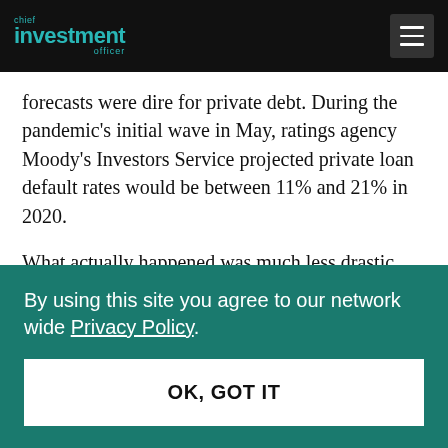chief investment officer
forecasts were dire for private debt. During the pandemic's initial wave in May, ratings agency Moody's Investors Service projected private loan default rates would be between 11% and 21% in 2020.
What actually happened was much less drastic. The
By using this site you agree to our network wide Privacy Policy.
OK, GOT IT